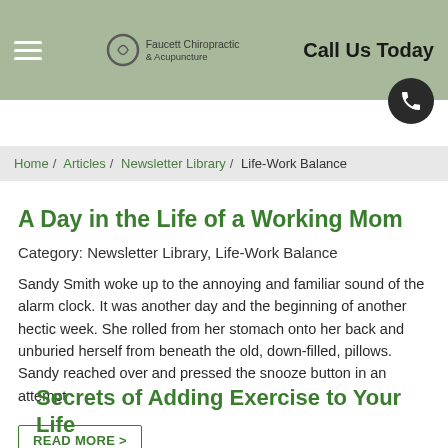Faucett Chiropractic & Acupuncture | Call Us Today
Home / Articles / Newsletter Library / Life-Work Balance
A Day in the Life of a Working Mom
Category: Newsletter Library, Life-Work Balance
Sandy Smith woke up to the annoying and familiar sound of the alarm clock. It was another day and the beginning of another hectic week. She rolled from her stomach onto her back and unburied herself from beneath the old, down-filled, pillows. Sandy reached over and pressed the snooze button in an attempt
READ MORE >
Secrets of Adding Exercise to Your Life